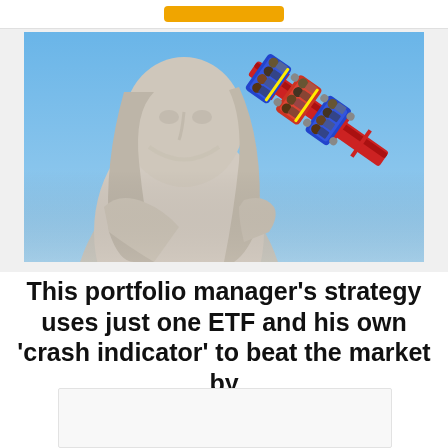[Figure (photo): Photograph of a stone statue of a human figure with long hair against a blue sky, with a roller coaster ride car full of people visible in the upper right, tilted at a steep angle]
This portfolio manager's strategy uses just one ETF and his own 'crash indicator' to beat the market by